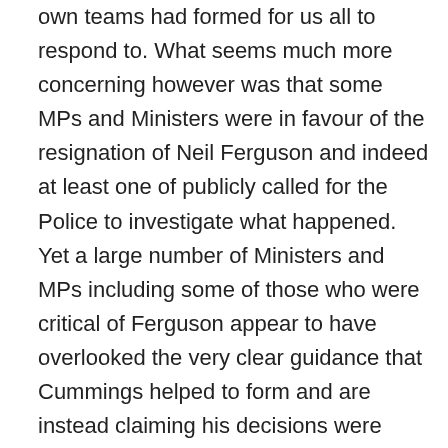own teams had formed for us all to respond to. What seems much more concerning however was that some MPs and Ministers were in favour of the resignation of Neil Ferguson and indeed at least one of publicly called for the Police to investigate what happened. Yet a large number of Ministers and MPs including some of those who were critical of Ferguson appear to have overlooked the very clear guidance that Cummings helped to form and are instead claiming his decisions were wise and appropriate even though he ignored his own powerful guidance. Both men worked for us and were appointed by the same political party even though one was a professional medical investigator and the other was a Special Adviser for the leader of the Party. Clearly the Party Members could remain quiet about the actions of Cummings but if he does not resign or is not removed from his role very quickly, any